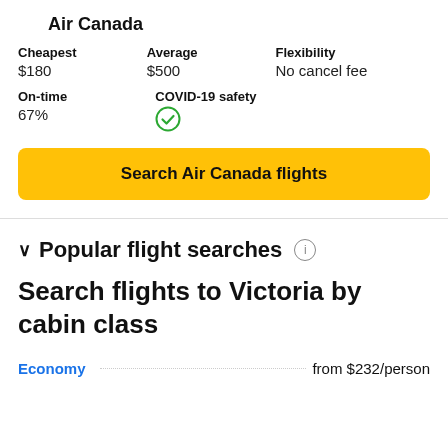Air Canada
| Cheapest | Average | Flexibility |
| --- | --- | --- |
| $180 | $500 | No cancel fee |
| On-time | COVID-19 safety |
| --- | --- |
| 67% | ✓ |
Search Air Canada flights
Popular flight searches
Search flights to Victoria by cabin class
Economy from $232/person